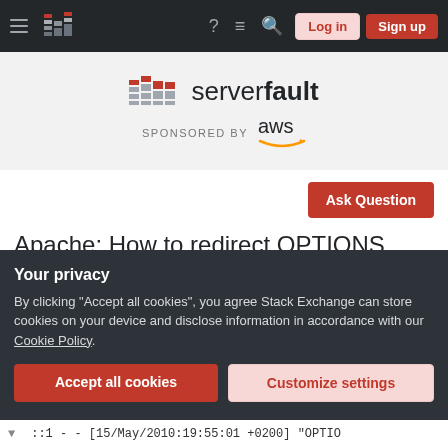Server Fault navigation bar with Log in and Sign up buttons
[Figure (logo): Server Fault logo with AWS sponsorship banner]
Ask Question
Apache: How to redirect OPTIONS request with .htaccess?
Asked 12 years, 3 months ago   Modified 12 years, 3 months ago
Your privacy
By clicking "Accept all cookies", you agree Stack Exchange can store cookies on your device and disclose information in accordance with our Cookie Policy.
Accept all cookies
Customize settings
::1 - - [15/May/2010:19:55:01 +0200] "OPTIO